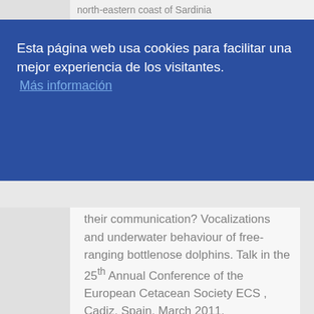north-eastern coast of Sardinia
Esta página web usa cookies para facilitar una mejor experiencia de los visitantes.
Más información
Entendido!
their communication? Vocalizations and underwater behaviour of free-ranging bottlenose dolphins. Talk in the 25th Annual Conference of the European Cetacean Society ECS , Cadiz, Spain, March 2011.
- Díaz López B. 2011. Do dolphins use context-specific whistles in their communication? Analysis of their